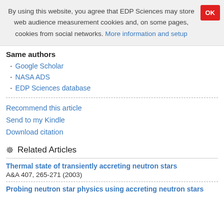By using this website, you agree that EDP Sciences may store web audience measurement cookies and, on some pages, cookies from social networks. More information and setup
Same authors
- Google Scholar
- NASA ADS
- EDP Sciences database
Recommend this article
Send to my Kindle
Download citation
Related Articles
Thermal state of transiently accreting neutron stars
A&A 407, 265-271 (2003)
Probing neutron star physics using accreting neutron stars